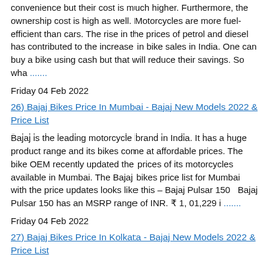convenience but their cost is much higher. Furthermore, the ownership cost is high as well. Motorcycles are more fuel-efficient than cars. The rise in the prices of petrol and diesel has contributed to the increase in bike sales in India. One can buy a bike using cash but that will reduce their savings. So wha .......
Friday 04 Feb 2022
26) Bajaj Bikes Price In Mumbai - Bajaj New Models 2022 & Price List
Bajaj is the leading motorcycle brand in India. It has a huge product range and its bikes come at affordable prices. The bike OEM recently updated the prices of its motorcycles available in Mumbai. The Bajaj bikes price list for Mumbai with the price updates looks like this – Bajaj Pulsar 150   Bajaj Pulsar 150 has an MSRP range of INR. ₹ 1, 01,229 i .......
Friday 04 Feb 2022
27) Bajaj Bikes Price In Kolkata - Bajaj New Models 2022 & Price List